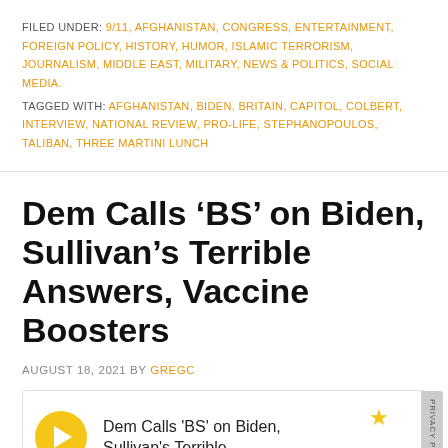FILED UNDER: 9/11, AFGHANISTAN, CONGRESS, ENTERTAINMENT, FOREIGN POLICY, HISTORY, HUMOR, ISLAMIC TERRORISM, JOURNALISM, MIDDLE EAST, MILITARY, NEWS & POLITICS, SOCIAL MEDIA.
TAGGED WITH: AFGHANISTAN, BIDEN, BRITAIN, CAPITOL, COLBERT, INTERVIEW, NATIONAL REVIEW, PRO-LIFE, STEPHANOPOULOS, TALIBAN, THREE MARTINI LUNCH
Dem Calls ‘BS’ on Biden, Sullivan’s Terrible Answers, Vaccine Boosters
AUGUST 18, 2021 BY GREGC
[Figure (other): Podcast player box with yellow play button, text 'Dem Calls BS on Biden, Sullivan's Terrible' and a yellow star icon. Privacy Policy tab on right edge.]